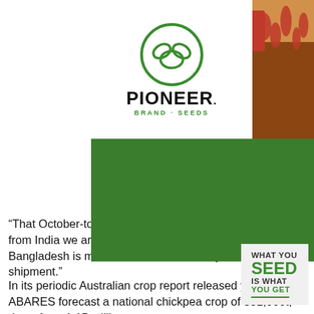[Figure (advertisement): Pioneer Brand Seeds advertisement. Left side shows Pioneer logo (green circle with crop symbol) and bold text 'PIONEER. BRAND · SEEDS'. Right side shows a field photo with a Pioneer A14 seed variety sign among sorghum crops. Below is a large green rectangular block. Bottom right corner has a white box with tagline: 'WHAT YOU SEED IS WHAT YOU GET' with a green underline.]
“That October-to-December demand we normally see from India we aren’t going to get this year, and Bangladesh is more interested in January-March shipment.”
In its periodic Australian crop report released yesterday, ABARES forecast a national chickpea crop of 351,000t, down from 1.15 million tonnes